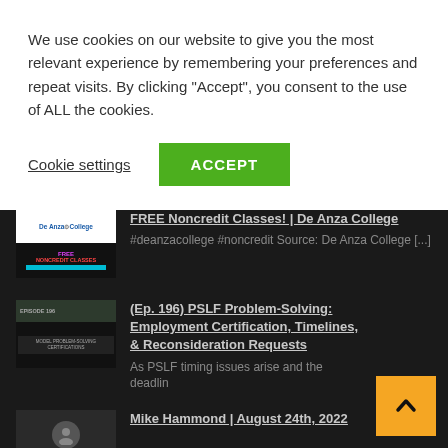We use cookies on our website to give you the most relevant experience by remembering your preferences and repeat visits. By clicking “Accept”, you consent to the use of ALL the cookies.
Cookie settings
ACCEPT
[Figure (screenshot): Thumbnail for De Anza College FREE Noncredit Classes video]
FREE Noncredit Classes! | De Anza College
#deanzacollege #noncredit Source: De Anza College [...]
[Figure (screenshot): Thumbnail for PSLF Problem-Solving episode 196]
(Ep. 196) PSLF Problem-Solving: Employment Certification, Timelines, & Reconsideration Requests
As PSLF timing issues arise and the deadlin
[Figure (screenshot): Thumbnail for Mike Hammond August 24th 2022 video]
Mike Hammond | August 24th, 2022